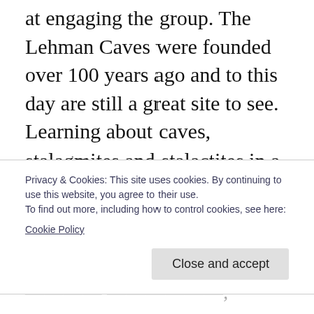at engaging the group. The Lehman Caves were founded over 100 years ago and to this day are still a great site to see. Learning about caves, stalagmites and stalactites in a book has nowhere near the same impact as seeing them in person. We all got “kissed by the cave” as water dripped on us and witnessed with our very eyes how over a million years ago, something as simple as water formed the natural wonders we are able to view today. It just proves that education doesn’t always have
Privacy & Cookies: This site uses cookies. By continuing to use this website, you agree to their use.
To find out more, including how to control cookies, see here:
Cookie Policy
Close and accept